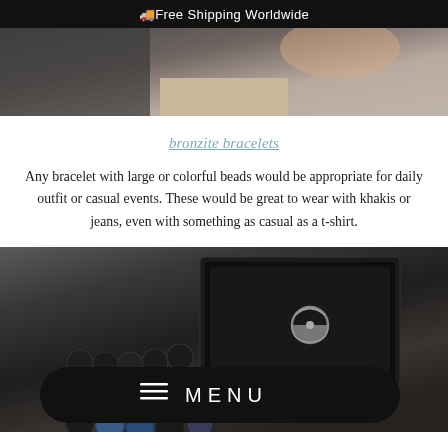🚚Free Shipping Worldwide
[Figure (photo): Close-up photo of a person wearing a beige/tan v-neck or collared shirt against a dark grey background]
bronzite bracelets
Any bracelet with large or colorful beads would be appropriate for daily outfit or casual events. These would be great to wear with khakis or jeans, even with something as casual as a t-shirt.
[Figure (photo): Dark greyscale photo showing a bracelet with dark beads and a silver clasp/lobster claw clasp, displayed in a black jewelry box. Bottom edge shows colorful blue and dark beads.]